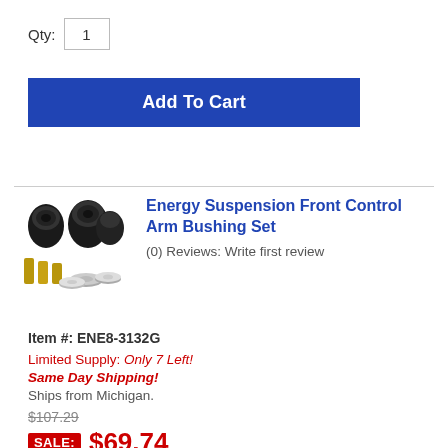Qty: 1
Add To Cart
Energy Suspension Front Control Arm Bushing Set
(0) Reviews: Write first review
Item #: ENE8-3132G
Limited Supply: Only 7 Left!
Same Day Shipping!
Ships from Michigan.
$107.29
SALE: $69.74